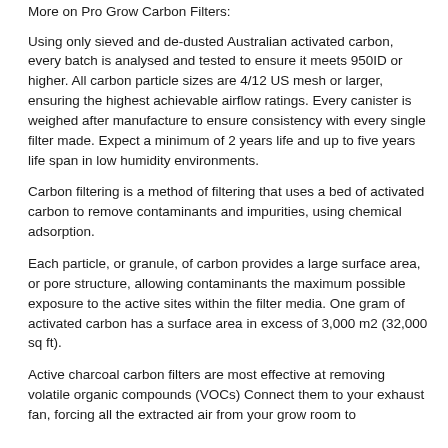More on Pro Grow Carbon Filters:
Using only sieved and de-dusted Australian activated carbon, every batch is analysed and tested to ensure it meets 950ID or higher. All carbon particle sizes are 4/12 US mesh or larger, ensuring the highest achievable airflow ratings. Every canister is weighed after manufacture to ensure consistency with every single filter made. Expect a minimum of 2 years life and up to five years life span in low humidity environments.
Carbon filtering is a method of filtering that uses a bed of activated carbon to remove contaminants and impurities, using chemical adsorption.
Each particle, or granule, of carbon provides a large surface area, or pore structure, allowing contaminants the maximum possible exposure to the active sites within the filter media. One gram of activated carbon has a surface area in excess of 3,000 m2 (32,000 sq ft).
Active charcoal carbon filters are most effective at removing volatile organic compounds (VOCs) Connect them to your exhaust fan, forcing all the extracted air from your grow room to